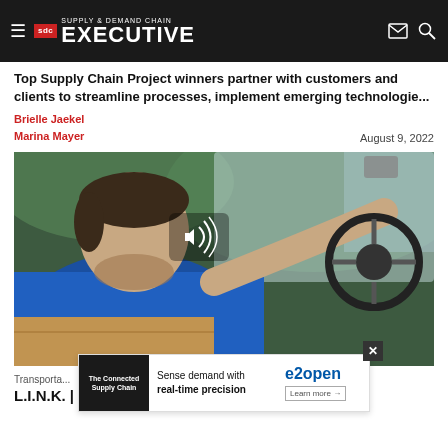Supply & Demand Chain Executive
Top Supply Chain Project winners partner with customers and clients to streamline processes, implement emerging technologie...
Brielle Jaekel
Marina Mayer
August 9, 2022
[Figure (photo): A delivery driver in a blue shirt driving a vehicle, viewed from the side, with one hand on the steering wheel. A cardboard package is visible in the foreground. A sound/muted icon is overlaid in the center.]
Transportation
L.I.N.K. | Why Fleet Safety needs to Be the Core...